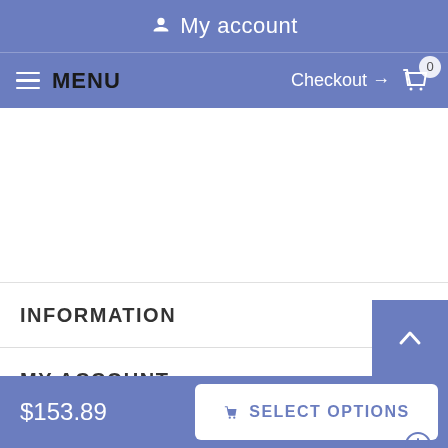My account
MENU  Checkout → 0
INFORMATION
MY ACCOUNT
FAQ
$153.89
SELECT OPTIONS